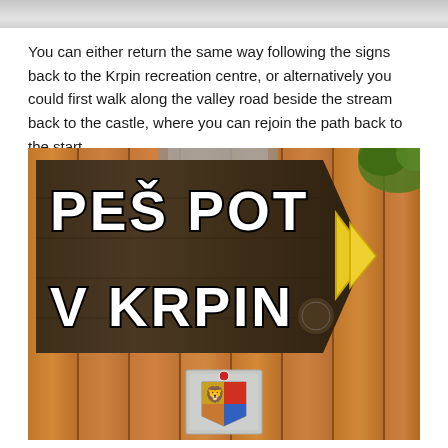[Figure (photo): Partial view of a photo at the top of the page, cropped off.]
You can either return the same way following the signs back to the Krpin recreation centre, or alternatively you could first walk along the valley road beside the stream back to the castle, where you can rejoin the path back to the start.
[Figure (photo): A wooden arrow-shaped sign reading 'PEŠ POT V KRPIN' (Slovenian for 'Footpath to Krpin') mounted on a wooden fence, with a yellow chevron arrow on the right side and a municipality badge/sticker below it.]